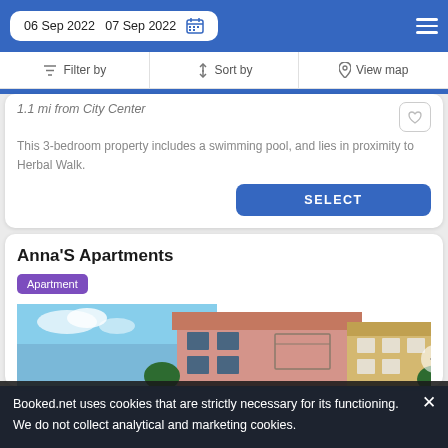06 Sep 2022  07 Sep 2022
Filter by  Sort by  View map
1.1 mi from City Center
This 3-bedroom property includes a swimming pool, and lies in proximity to Herbal Walk.
SELECT
Anna'S Apartments
Apartment
[Figure (photo): Exterior photo of Anna's Apartments building - pink/terracotta building with blue sky]
Booked.net uses cookies that are strictly necessary for its functioning. We do not collect analytical and marketing cookies.